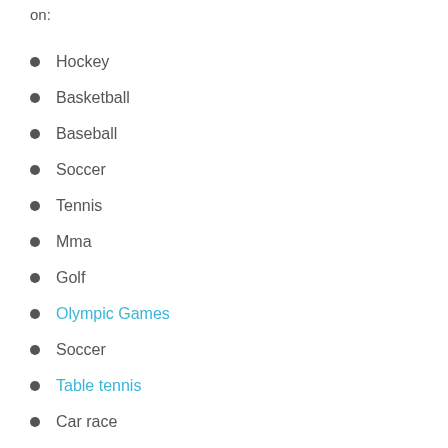on:
Hockey
Basketball
Baseball
Soccer
Tennis
Mma
Golf
Olympic Games
Soccer
Table tennis
Car race
Boxing